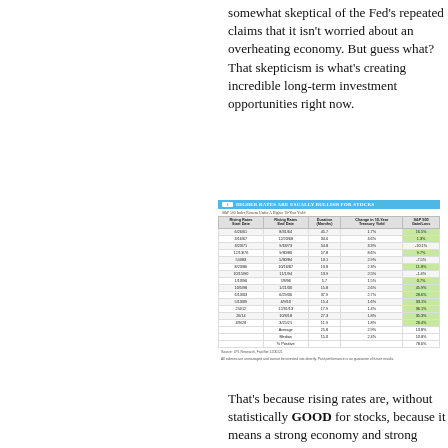somewhat skeptical of the Fed's repeated claims that it isn't worried about an overheating economy. But guess what? That skepticism is what's creating incredible long-term investment opportunities right now.
| Rising Rates Start Date | Rising Rates End Date | Duration (Months) | Change in 10-Year Treasury Yield | S&P 500 Gain/Loss |
| --- | --- | --- | --- | --- |
| 6/26/61 | 8/31/64 | 45.7 | 1.7% | 16.5% |
| 3/16/67 | 12/20/68 | 34.6 | 3.6% | 1.3% |
| 3/23/71 | 9/18/73 | 54.8 | 3.3% | -10.1% |
| 12/13/76 | 9/30/80 | 57.8 | 8.6% | 9.7% |
| 5/4/83 | 5/30/84 | 13.1 | 2.9% | -7.5% |
| 8/23/86 | 10/16/87 | 13.8 | 2.3% | 11.8% |
| 10/15/90 | 11/1/94 | 13.9 | 2.5% | -1.4% |
| 1/13/96 | 7/8/96 | 5.7 | 1.5% | 0.7% |
| 10/5/98 | 1/21/00 | 15.8 | 2.6% | 45.9% |
| 6/13/03 | 6/29/06 | 37.9 | 2.7% | 28.6% |
| 5/13/09 | 4/3/10 | 15.4 | 1.6% | 33.1% |
| 2/4/12 | 12/31/13 | 17.9 | 1.4% | 36.1% |
| 26/14 | 10/3/18 | 27.3 | 1.8% | 35.3% |
| 3/9/20 | 3/25/21 | 11.9 | 1.8% | 28.4% |
|  | Average | 25.8 | 2.9% | 13.8% |
|  | Median | 15.0 | 2.4% | 10.8% |
|  | % Positive |  |  | 78.6% |
That's because rising rates are, without statistically GOOD for stocks, because it means a strong economy and strong